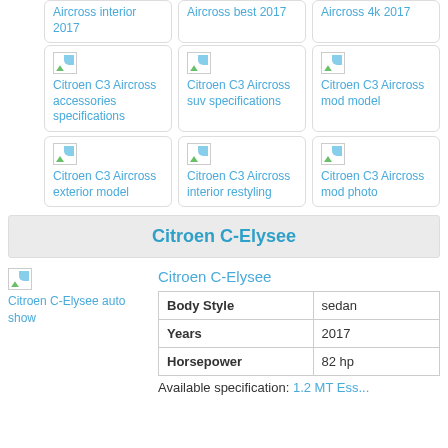[Figure (screenshot): Grid of thumbnail cards showing Citroen C3 Aircross variants. Row 1 (partial, top-cropped): Aircross interior 2017, Aircross best 2017, Aircross 4k 2017. Row 2: Citroen C3 Aircross accessories specifications, Citroen C3 Aircross suv specifications, Citroen C3 Aircross mod model. Row 3: Citroen C3 Aircross exterior model, Citroen C3 Aircross interior restyling, Citroen C3 Aircross mod photo.]
Citroen C-Elysee
[Figure (photo): Broken image placeholder for Citroen C-Elysee auto show]
Citroen C-Elysee
| Body Style | sedan |
| Years | 2017 |
| Horsepower | 82 hp |
Available specification: 1.2 MT Ess...